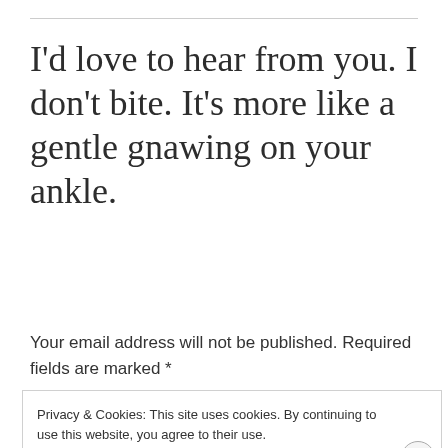I'd love to hear from you. I don't bite. It's more like a gentle gnawing on your ankle.
Your email address will not be published. Required fields are marked *
Privacy & Cookies: This site uses cookies. By continuing to use this website, you agree to their use.
To find out more, including how to control cookies, see here: Cookie Policy
Close and accept